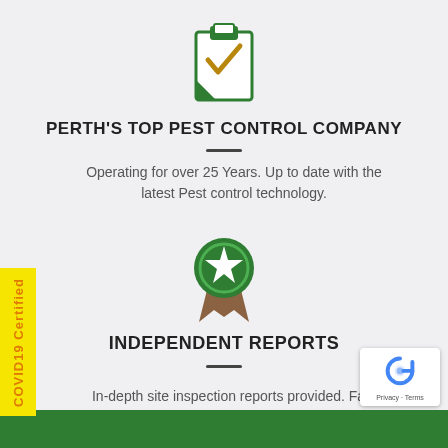[Figure (illustration): Clipboard icon with a green checkmark, representing completed inspection or certification]
PERTH'S TOP PEST CONTROL COMPANY
Operating for over 25 Years. Up to date with the latest Pest control technology.
[Figure (illustration): Green circular badge/award icon with a white star and brown ribbon tails]
INDEPENDENT REPORTS
In-depth site inspection reports provided. Fast Responsive turnaround times within 24 hours.
[Figure (other): Yellow vertical tab on left edge reading COVID19 Certified in orange text]
[Figure (other): reCAPTCHA badge in bottom right corner]
[Figure (other): Green footer bar at bottom of page]